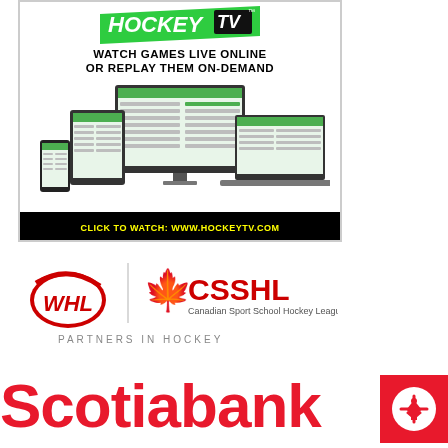[Figure (illustration): HockeyTV advertisement with logo, tagline 'WATCH GAMES LIVE ONLINE OR REPLAY THEM ON-DEMAND', devices mockup showing the website on desktop, tablet and phone, and CTA bar 'CLICK TO WATCH: WWW.HOCKEYTV.COM']
[Figure (logo): WHL and CSSHL (Canadian Sport School Hockey League) logos side by side with 'PARTNERS IN HOCKEY' text below]
[Figure (logo): Scotiabank logo (partial, red text) with red badge in bottom right corner]